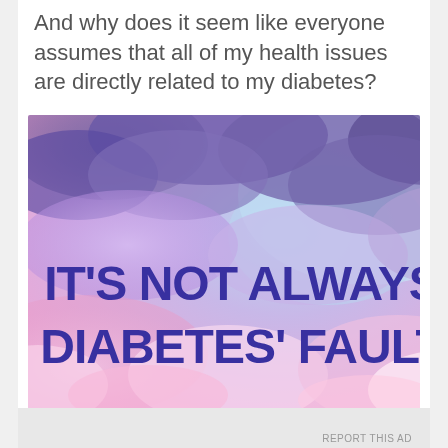And why does it seem like everyone assumes that all of my health issues are directly related to my diabetes?
[Figure (illustration): Sky with purple and pink clouds background image with bold dark blue/purple text reading: IT'S NOT ALWAYS DIABETES' FAULT]
Advertisements